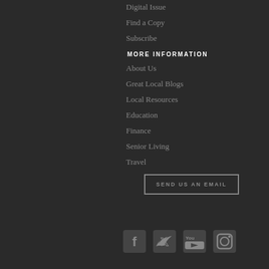Digital Issue
Find a Copy
Subscribe
MORE INFORMATION
About Us
Great Local Blogs
Local Resources
Education
Finance
Senior Living
Travel
SEND US AN EMAIL
[Figure (other): Social media icons: Facebook, Twitter, YouTube, Instagram]